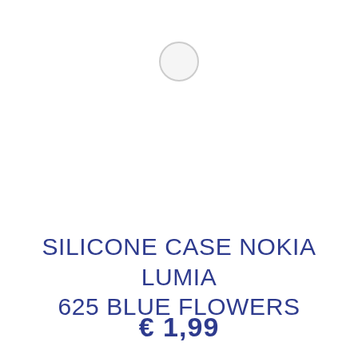[Figure (other): Small circular hole punch at the top center of a price tag]
SILICONE CASE NOKIA LUMIA 625 BLUE FLOWERS
€ 1,99